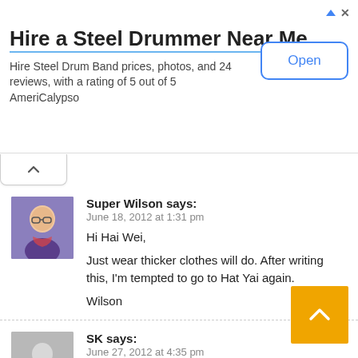[Figure (screenshot): Advertisement banner for hiring a steel drummer]
Hire a Steel Drummer Near Me
Hire Steel Drum Band prices, photos, and 24 reviews, with a rating of 5 out of 5 AmeriCalypso
Super Wilson says:
June 18, 2012 at 1:31 pm
Hi Hai Wei,
Just wear thicker clothes will do. After writing this, I'm tempted to go to Hat Yai again.
Wilson
SK says:
June 27, 2012 at 4:35 pm
Have been going to Hatyai every year for Chinese New Year, pass by the Hatyai Municipality Park but never thought of going into Ice Dome. As never thought that it's going